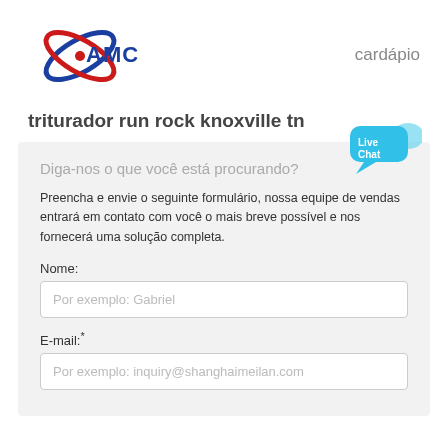[Figure (logo): AMC company logo with stylized orbital rings in red and blue around letters AMC]
cardápio
triturador run rock knoxville tn
Diga-nos o que você está procurando?
Preencha e envie o seguinte formulário, nossa equipe de vendas entrará em contato com você o mais breve possível e nos fornecerá uma solução completa.
Nome:
Por exemplo: Gabriel
E-mail:*
Por exemplo: inquiry@shanghaimeilan.com